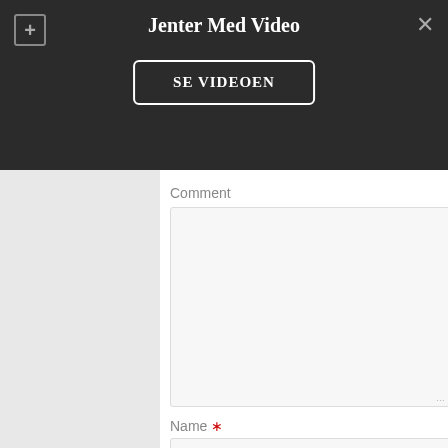Jenter Med Video
SE VIDEOEN
Comment
Name *